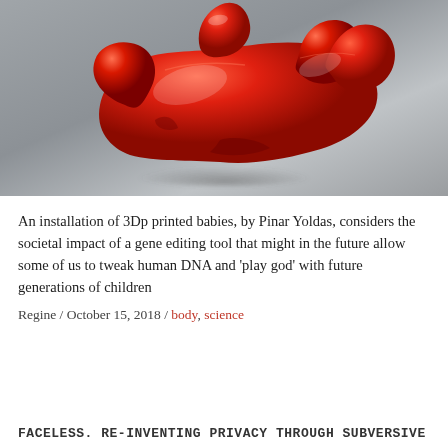[Figure (photo): A close-up photograph of red 3D-printed sculptural baby forms clustered together, glossy red plastic figures against a grey background.]
An installation of 3Dp printed babies, by Pinar Yoldas, considers the societal impact of a gene editing tool that might in the future allow some of us to tweak human DNA and 'play god' with future generations of children
Regine / October 15, 2018 / body, science
FACELESS. RE-INVENTING PRIVACY THROUGH SUBVERSIVE